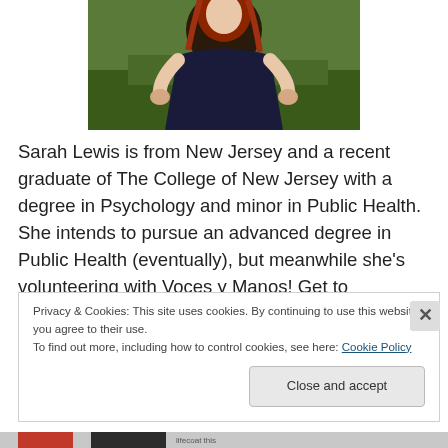[Figure (photo): Photo of Sarah Lewis, a young woman with red hair wearing a navy blue dress, standing outdoors on grass with hands on hips]
Sarah Lewis is from New Jersey and a recent graduate of The College of New Jersey with a degree in Psychology and minor in Public Health. She intends to pursue an advanced degree in Public Health (eventually), but meanwhile she's volunteering with Voces y Manos! Get to
Privacy & Cookies: This site uses cookies. By continuing to use this website, you agree to their use.
To find out more, including how to control cookies, see here: Cookie Policy